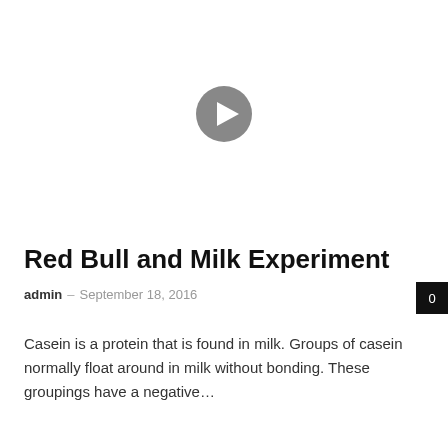[Figure (other): Video thumbnail with a circular grey play button icon centered on a white background]
Red Bull and Milk Experiment
admin – September 18, 2016
Casein is a protein that is found in milk. Groups of casein normally float around in milk without bonding. These groupings have a negative…